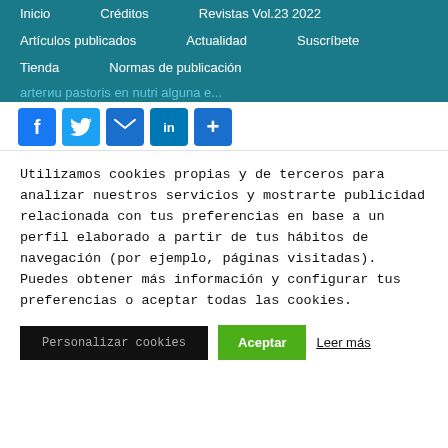Inicio   Créditos   Revistas Vol.23 2022
Artículos publicados   Actualidad   Suscríbete
Tienda   Normas de publicación
...artegiu pastoris en nutri alguna e...
[Figure (other): Social share icons: Facebook, Twitter, Email, LinkedIn, Share]
Utilizamos cookies propias y de terceros para analizar nuestros servicios y mostrarte publicidad relacionada con tus preferencias en base a un perfil elaborado a partir de tus hábitos de navegación (por ejemplo, páginas visitadas). Puedes obtener más información y configurar tus preferencias o aceptar todas las cookies.
Personalizar cookies   Aceptar   Leer más